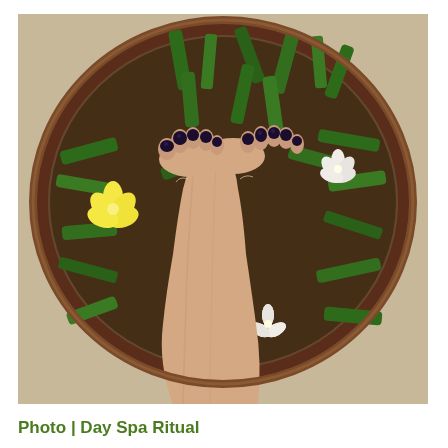[Figure (photo): Overhead view of two feet with dark-painted toenails soaking in a large round wooden bowl filled with water, green lemongrass stalks, and white and yellow flowers — a day spa foot ritual.]
Photo | Day Spa Ritual